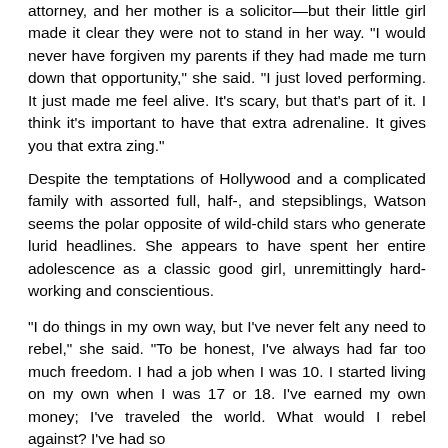attorney, and her mother is a solicitor—but their little girl made it clear they were not to stand in her way. "I would never have forgiven my parents if they had made me turn down that opportunity," she said. "I just loved performing. It just made me feel alive. It's scary, but that's part of it. I think it's important to have that extra adrenaline. It gives you that extra zing."
Despite the temptations of Hollywood and a complicated family with assorted full, half-, and stepsiblings, Watson seems the polar opposite of wild-child stars who generate lurid headlines. She appears to have spent her entire adolescence as a classic good girl, unremittingly hard-working and conscientious.
"I do things in my own way, but I've never felt any need to rebel," she said. "To be honest, I've always had far too much freedom. I had a job when I was 10. I started living on my own when I was 17 or 18. I've earned my own money; I've traveled the world. What would I rebel against? I've had so